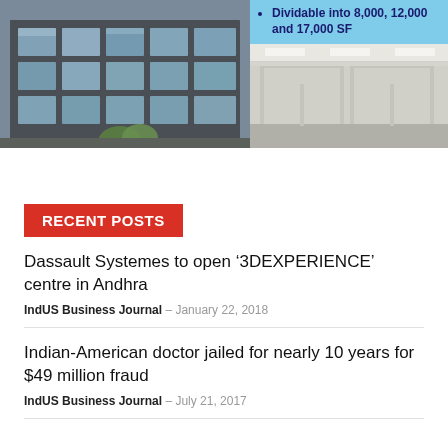[Figure (photo): Two-panel image: left side shows exterior of a multi-story building with large glass windows reflecting clouds and sky, dark brick facade. Right side top shows a light blue info box with bullet text 'Dividable into 8,000, 12,000 and 17,000 SF'. Right side bottom shows an office interior with cubicle partitions under fluorescent lighting.]
RECENT POSTS
Dassault Systemes to open ‘3DEXPERIENCE’ centre in Andhra
IndUS Business Journal – January 22, 2018
Indian-American doctor jailed for nearly 10 years for $49 million fraud
IndUS Business Journal – July 21, 2017